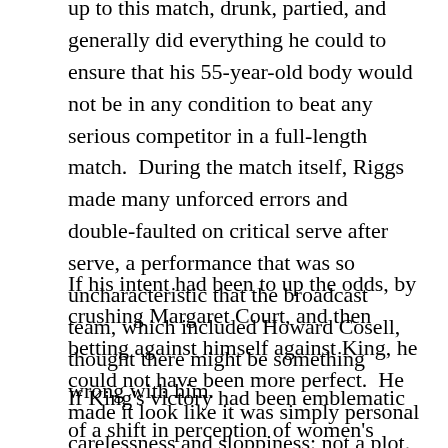up to this match, drunk, partied, and generally did everything he could to ensure that his 55-year-old body would not be in any condition to beat any serious competitor in a full-length match.  During the match itself, Riggs made many unforced errors and double-faulted on critical serve after serve, a performance that was so uncharacteristic that the broadcast team, which included Howard Cosell, thought there might be something wrong with him.
If his intent had been to up the odds, by crushing Margaret Court, and then betting against himself against King, he could not have been more perfect.  He made it look like it was simply personal carelessness and sloppiness: not a plot.
If King's victory had been emblematic of a shift in perception of women's abilities and competence, why were there no sequels?  Why didn't we ever see